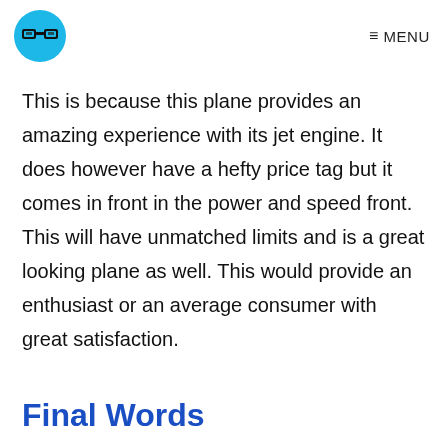MENU
This is because this plane provides an amazing experience with its jet engine. It does however have a hefty price tag but it comes in front in the power and speed front. This will have unmatched limits and is a great looking plane as well. This would provide an enthusiast or an average consumer with great satisfaction.
Final Words